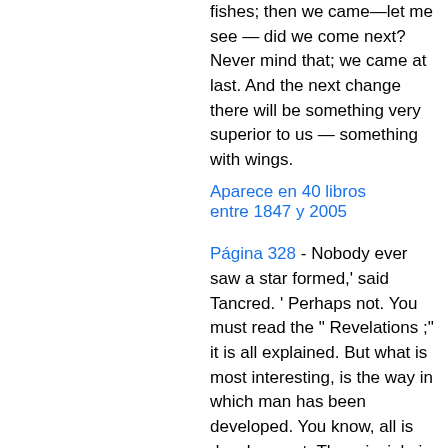fishes; then we came—let me see — did we come next? Never mind that; we came at last. And the next change there will be something very superior to us — something with wings.
Aparece en 40 libros entre 1847 y 2005
Página 328 - Nobody ever saw a star formed,' said Tancred. ' Perhaps not. You must read the " Revelations ;" it is all explained. But what is most interesting, is the way in which man has been developed. You know, all is development. The principle is perpetually going on. First, there was nothing